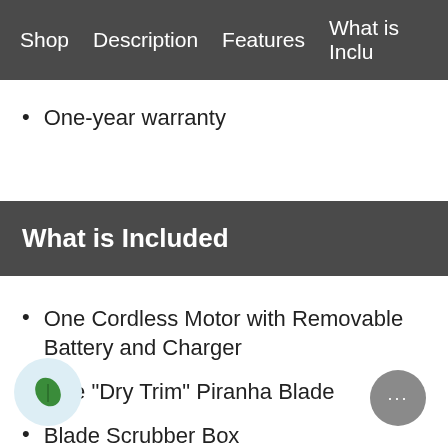Shop   Description   Features   What is Included
One-year warranty
What is Included
One Cordless Motor with Removable Battery and Charger
One "Dry Trim" Piranha Blade
Blade Scrubber Box